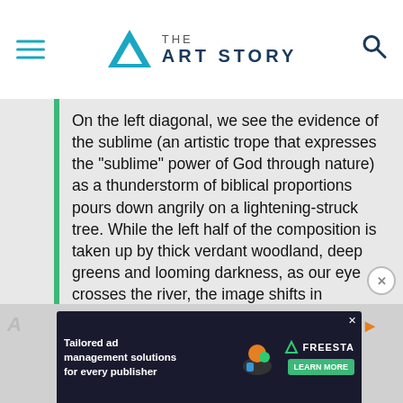THE ART STORY
On the left diagonal, we see the evidence of the sublime (an artistic trope that expresses the "sublime" power of God through nature) as a thunderstorm of biblical proportions pours down angrily on a lightening-struck tree. While the left half of the composition is taken up by thick verdant woodland, deep greens and looming darkness, as our eye crosses the river, the image shifts in emphasis. Now we see a more pastoral scene rendered in lighter colors that speak of man's mastery over the fearsome landscape. This gives the painting its unique contemporaneous theme of manifest destiny.
[Figure (other): Advertisement banner: Tailored ad management solutions for every publisher — FREESTA logo — LEARN MORE button]